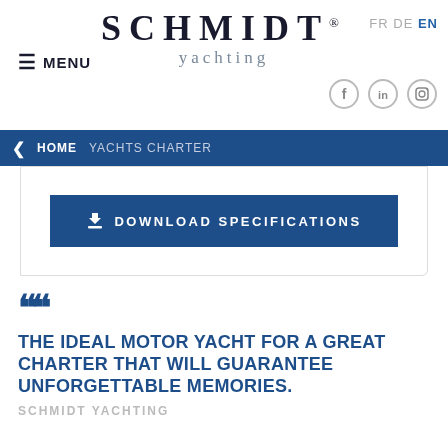SCHMIDT® yachting
≡ MENU
FR DE EN
[Figure (other): Social media icons: Facebook, LinkedIn, Instagram]
< HOME   YACHTS CHARTER
⬇ DOWNLOAD SPECIFICATIONS
❝
THE IDEAL MOTOR YACHT FOR A GREAT CHARTER THAT WILL GUARANTEE UNFORGETTABLE MEMORIES.
SCHMIDT YACHTING